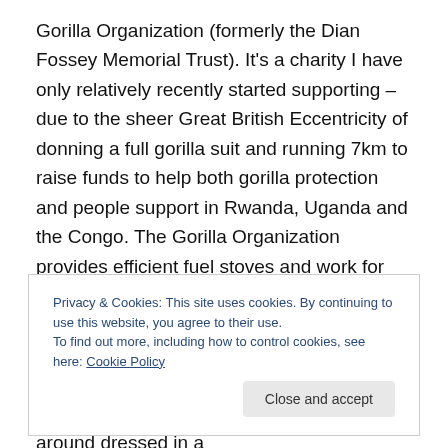Gorilla Organization (formerly the Dian Fossey Memorial Trust). It's a charity I have only relatively recently started supporting – due to the sheer Great British Eccentricity of donning a full gorilla suit and running 7km to raise funds to help both gorilla protection and people support in Rwanda, Uganda and the Congo. The Gorilla Organization provides efficient fuel stoves and work for families living near the three Gorilla areas to try to minimise the need for poaching and thus protect the Gorillas. As well as the Silent Disco (Millennium Bridge) and the Run itself, I've also been videoed wandering around dressed in a
Privacy & Cookies: This site uses cookies. By continuing to use this website, you agree to their use. To find out more, including how to control cookies, see here: Cookie Policy